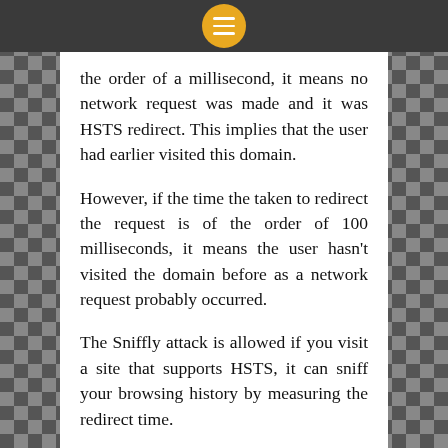the order of a millisecond, it means no network request was made and it was HSTS redirect. This implies that the user had earlier visited this domain.
However, if the time the taken to redirect the request is of the order of 100 milliseconds, it means the user hasn't visited the domain before as a network request probably occurred.
The Sniffly attack is allowed if you visit a site that supports HSTS, it can sniff your browsing history by measuring the redirect time.
To know more about the Sniffly attack, visit the Yan's GitHub page.
Share this: